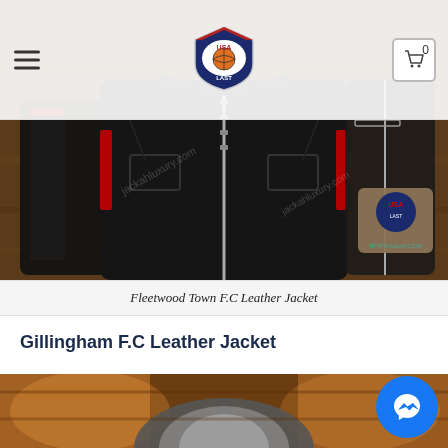USA LAST logo, hamburger menu, cart (0)
[Figure (photo): Fleetwood Town F.C black leather jacket product photo showing multiple angles on wooden background, with USA LAST logo watermark]
Fleetwood Town F.C Leather Jacket
Gillingham F.C Leather Jacket
[Figure (photo): Gillingham F.C leather jacket product photo showing a hooded jacket on wooden background]